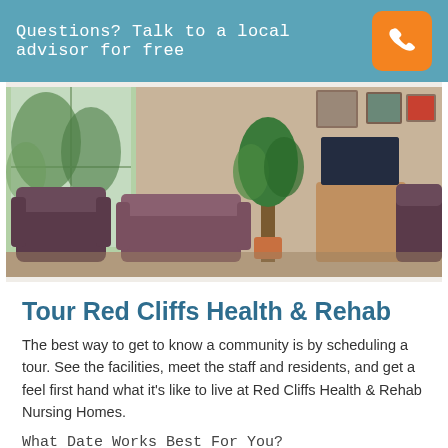Questions? Talk to a local advisor for free
[Figure (photo): Interior of a care facility showing a comfortable lounge area with armchairs, plants, large windows with natural light, and framed pictures on the wall.]
Tour Red Cliffs Health & Rehab
The best way to get to know a community is by scheduling a tour. See the facilities, meet the staff and residents, and get a feel first hand what it's like to live at Red Cliffs Health & Rehab Nursing Homes.
What Date Works Best For You?